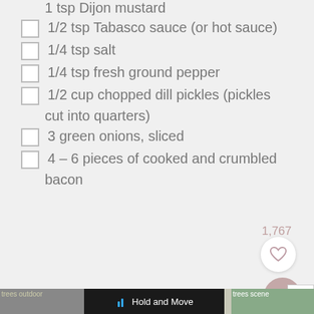1 tsp Dijon mustard
1/2 tsp Tabasco sauce (or hot sauce)
1/4 tsp salt
1/4 tsp fresh ground pepper
1/2 cup chopped dill pickles (pickles cut into quarters)
3 green onions, sliced
4 – 6 pieces of cooked and crumbled bacon
1,767
[Figure (screenshot): UI buttons: heart/like button (white circle) and search button (mauve circle with magnifying glass icon), close button (X)]
[Figure (photo): Bottom advertisement banner showing outdoor scene with trees and a mobile app UI overlay reading Hold and Move]